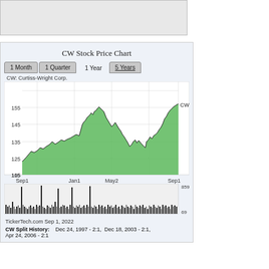[Figure (other): Gray top banner placeholder area]
CW Stock Price Chart
[Figure (area-chart): 1 Year area chart of CW (Curtiss-Wright Corp.) stock price from Sep1 to Sep1, ranging approximately 105 to 158]
[Figure (bar-chart): Volume bar chart below price chart, y-axis shows 859 and 69]
TickerTech.com Sep 1, 2022
CW Split History:    Dec 24, 1997 - 2:1,  Dec 18, 2003 - 2:1,  Apr 24, 2006 - 2:1